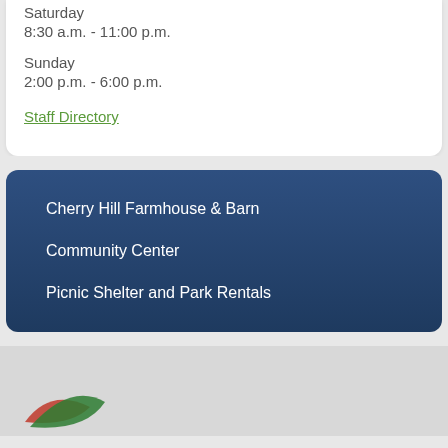Saturday
8:30 a.m. - 11:00 p.m.
Sunday
2:00 p.m. - 6:00 p.m.
Staff Directory
Cherry Hill Farmhouse & Barn
Community Center
Picnic Shelter and Park Rentals
[Figure (logo): Partial logo with green and red swoosh marks visible at bottom of page]